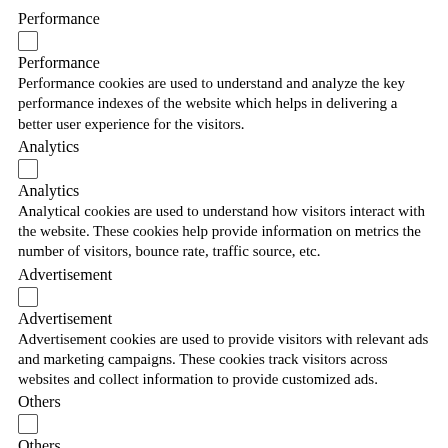Performance
☐
Performance
Performance cookies are used to understand and analyze the key performance indexes of the website which helps in delivering a better user experience for the visitors.
Analytics
☐
Analytics
Analytical cookies are used to understand how visitors interact with the website. These cookies help provide information on metrics the number of visitors, bounce rate, traffic source, etc.
Advertisement
☐
Advertisement
Advertisement cookies are used to provide visitors with relevant ads and marketing campaigns. These cookies track visitors across websites and collect information to provide customized ads.
Others
☐
Others
Other uncategorized cookies are those that are being analyzed and have not been classified into a category as yet.
ACCETTA E SALVA